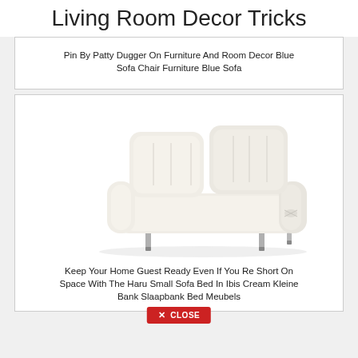Living Room Decor Tricks
Pin By Patty Dugger On Furniture And Room Decor Blue Sofa Chair Furniture Blue Sofa
[Figure (photo): A cream/white small two-seater sofa bed (Haru Small Sofa Bed in Ibis Cream) with tufted cushions and chrome metal legs, shown on white background.]
Keep Your Home Guest Ready Even If You Re Short On Space With The Haru Small Sofa Bed In Ibis Cream Kleine Bank Slaapbank Bed Meubels